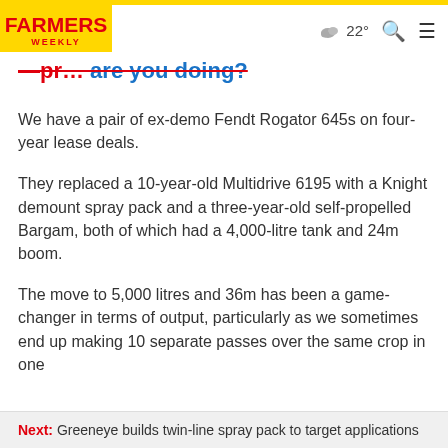FARMERS WEEKLY | 22° [weather] [search] [menu]
...pre... are you doing?
We have a pair of ex-demo Fendt Rogator 645s on four-year lease deals.
They replaced a 10-year-old Multidrive 6195 with a Knight demount spray pack and a three-year-old self-propelled Bargam, both of which had a 4,000-litre tank and 24m boom.
The move to 5,000 litres and 36m has been a game-changer in terms of output, particularly as we sometimes end up making 10 separate passes over the same crop in one
Next: Greeneye builds twin-line spray pack to target applications